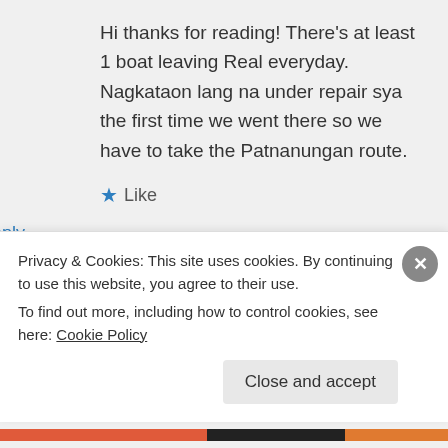Hi thanks for reading! There's at least 1 boat leaving Real everyday. Nagkataon lang na under repair sya the first time we went there so we have to take the Patnanungan route.
★ Like
↪ Reply
The World is Our Playground on March
Privacy & Cookies: This site uses cookies. By continuing to use this website, you agree to their use.
To find out more, including how to control cookies, see here: Cookie Policy
Close and accept